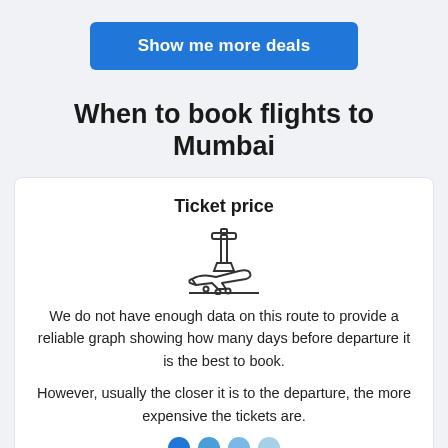Show me more deals
When to book flights to Mumbai
Ticket price
[Figure (illustration): Airport control tower and airplane landing icon, line art style]
We do not have enough data on this route to provide a reliable graph showing how many days before departure it is the best to book.
However, usually the closer it is to the departure, the more expensive the tickets are.